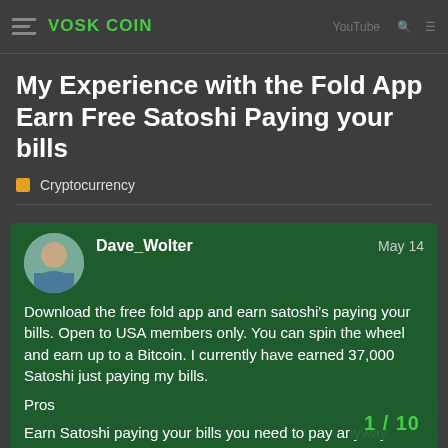VoskCoin
My Experience with the Fold App Earn Free Satoshi Paying your bills
Cryptocurrency
Dave_Wolter  May 14
Download the free fold app and earn satoshi's paying your bills. Open to USA members only. You can spin the wheel and earn up to a Bitcoin. I currently have earned 37,000 Satoshi just paying my bills.
Pros
Earn Satoshi paying your bills you need to pay anyway.
Earn Satoshi buying gift cards and shopping online thru their app.
Spin the wheel for every purchase and earn purchase back in Satoshi.
1 / 10